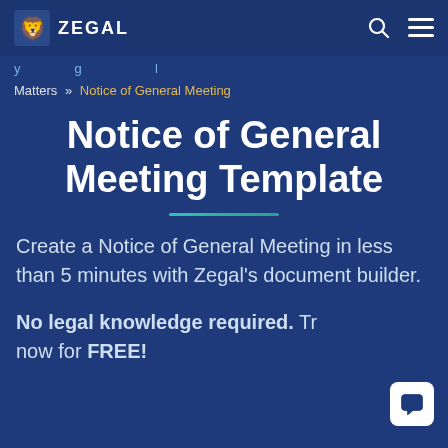ZEGAL
Matters » Notice of General Meeting
Notice of General Meeting Template
Create a Notice of General Meeting in less than 5 minutes with Zegal's document builder.
No legal knowledge required. Try now for FREE!